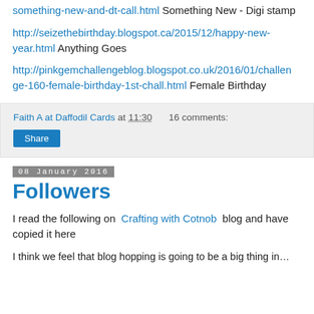http://…something-new-and-dt-call.html  Something New - Digi stamp
http://seizethebirthday.blogspot.ca/2015/12/happy-new-year.html  Anything Goes
http://pinkgemchallengeblog.blogspot.co.uk/2016/01/challenge-160-female-birthday-1st-chall.html  Female Birthday
Faith A at Daffodil Cards at 11:30   16 comments:
Share
08 January 2016
Followers
I read the following on  Crafting with Cotnob  blog and have copied it here
I think we feel that blog hopping is going...